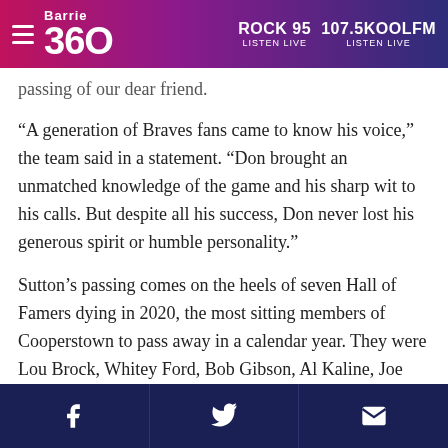Barrie 360 | ROCK 95 LISTEN LIVE | 107.5KOOLFM LISTEN LIVE
passing of our dear friend.
“A generation of Braves fans came to know his voice,” the team said in a statement. “Don brought an unmatched knowledge of the game and his sharp wit to his calls. But despite all his success, Don never lost his generous spirit or humble personality.”
Sutton’s passing comes on the heels of seven Hall of Famers dying in 2020, the most sitting members of Cooperstown to pass away in a calendar year. They were Lou Brock, Whitey Ford, Bob Gibson, Al Kaline, Joe Morgan, Phil Niekro and Tom Seaver.
Sutton pitched for Dodgers Hall of Fame
Share icons: Facebook, Twitter, Email